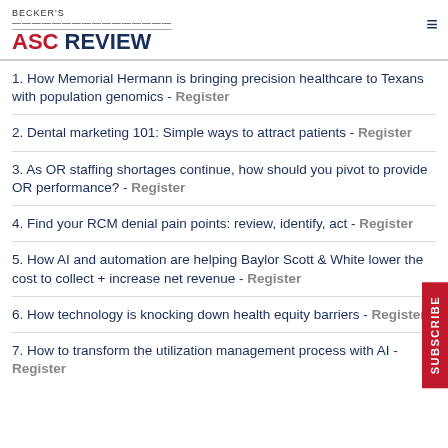BECKER'S ASC REVIEW
1. How Memorial Hermann is bringing precision healthcare to Texans with population genomics - Register
2. Dental marketing 101: Simple ways to attract patients - Register
3. As OR staffing shortages continue, how should you pivot to provide OR performance? - Register
4. Find your RCM denial pain points: review, identify, act - Register
5. How AI and automation are helping Baylor Scott & White lower the cost to collect + increase net revenue - Register
6. How technology is knocking down health equity barriers - Register
7. How to transform the utilization management process with AI - Register